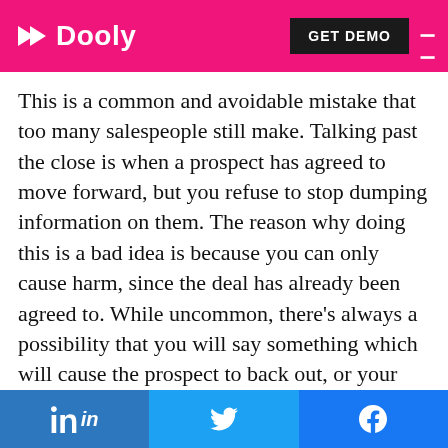Dooly — GET DEMO
This is a common and avoidable mistake that too many salespeople still make. Talking past the close is when a prospect has agreed to move forward, but you refuse to stop dumping information on them. The reason why doing this is a bad idea is because you can only cause harm, since the deal has already been agreed to. While uncommon, there's always a possibility that you will say something which will cause the prospect to back out, or your continuous information dumping will scare them off. In any case, once the prospect agrees to move forward, your job is to outline the
LinkedIn share | Twitter share | Facebook share